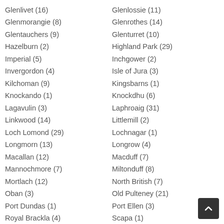Glenlivet (16)
Glenmorangie (8)
Glentauchers (9)
Hazelburn (2)
Imperial (5)
Invergordon (4)
Kilchoman (9)
Knockando (1)
Lagavulin (3)
Linkwood (14)
Loch Lomond (29)
Longmorn (13)
Macallan (12)
Mannochmore (7)
Mortlach (12)
Oban (3)
Port Dundas (1)
Royal Brackla (4)
Speyburn (9)
Springbank (13)
Glenlossie (11)
Glenrothes (14)
Glenturret (10)
Highland Park (29)
Inchgower (2)
Isle of Jura (3)
Kingsbarns (1)
Knockdhu (6)
Laphroaig (31)
Littlemill (2)
Lochnagar (1)
Longrow (4)
Macduff (7)
Miltonduff (8)
North British (7)
Old Pulteney (21)
Port Ellen (3)
Scapa (1)
Speyside (1)
St Magdalene (1)